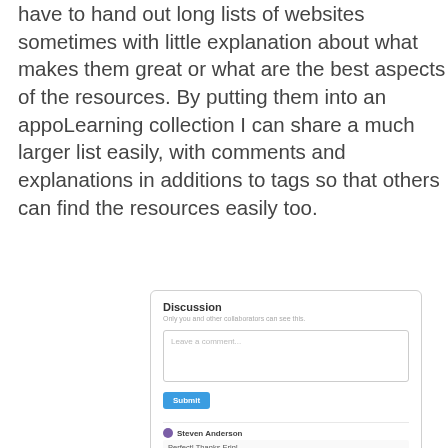have to hand out long lists of websites sometimes with little explanation about what makes them great or what are the best aspects of the resources. By putting them into an appoLearning collection I can share a much larger list easily, with comments and explanations in additions to tags so that others can find the resources easily too.
[Figure (screenshot): Discussion panel UI showing a comment box with 'Leave a comment...' placeholder, a Submit button, and three comments: Steven Anderson ('Perfect! Thanks Erin!'), Erin Klein ('I agree - another vid would be good. Shared one of my favs from Richard Culatta (director of Office of EdTech); it's short and relevant.'), Steven Anderson ('I think we need another video. What do you think?')]